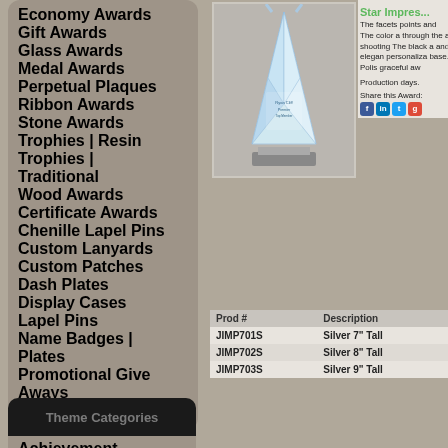Economy Awards
Gift Awards
Glass Awards
Medal Awards
Perpetual Plaques
Ribbon Awards
Stone Awards
Trophies | Resin
Trophies | Traditional
Wood Awards
Certificate Awards
Chenille Lapel Pins
Custom Lanyards
Custom Patches
Dash Plates
Display Cases
Lapel Pins
Name Badges | Plates
Promotional Give Aways
Signs | Banners
Theme Categories
Achievement
[Figure (photo): Crystal star impression trophy, silver base, clear faceted glass rising to sharp point]
Star Impres...
The facets points and The color a through the a shooting The black a and elegan personaliza base. Polis graceful aw
Production days.
Share this Award:
| Prod # | Description |
| --- | --- |
| JIMP701S | Silver 7" Tall |
| JIMP702S | Silver 8" Tall |
| JIMP703S | Silver 9" Tall |